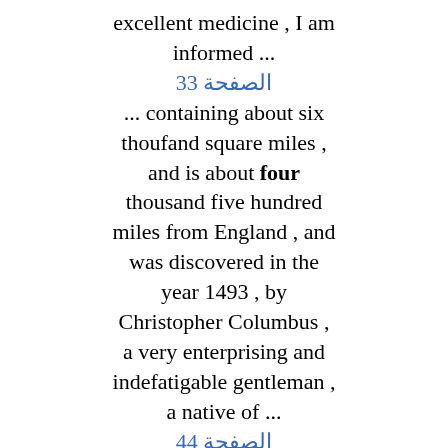excellent medicine , I am informed ...
الصفحة 33
... containing about six thoufand square miles , and is about four thousand five hundred miles from England , and was discovered in the year 1493 , by Christopher Columbus , a very enterprising and indefatigable gentleman , a native of ...
الصفحة 44
If seasonable rains happen , they will sprout up in a few days from every joint , something like young grass ; in about three or four weeks afterwards the negroes weed and mould